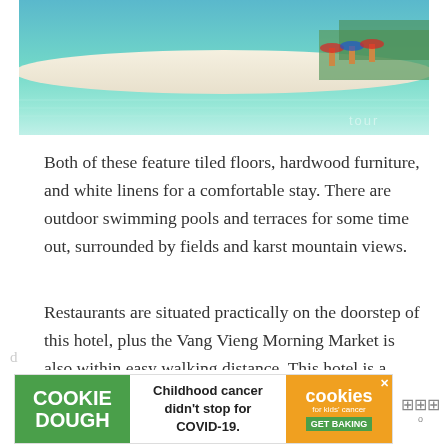[Figure (photo): Aerial or distant view of a turquoise tropical beach with white sand, beach umbrellas, and lush greenery. A watermark reading 'tour' is visible in the lower right corner.]
Both of these feature tiled floors, hardwood furniture, and white linens for a comfortable stay. There are outdoor swimming pools and terraces for some time out, surrounded by fields and karst mountain views.
Restaurants are situated practically on the doorstep of this hotel, plus the Vang Vieng Morning Market is also within easy walking distance. This hotel is a particularly good place to soak up stunning sunsets.
[Figure (other): Advertisement banner: COOKIE DOUGH text in green on left, center text reads 'Childhood cancer didn't stop for COVID-19.', right side shows 'cookies for kids cancer' branding with orange background and 'GET BAKING' button. Close/X button visible.]